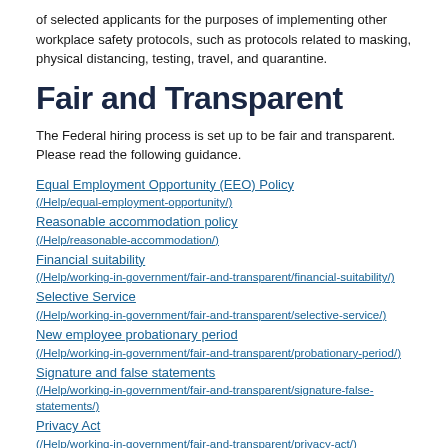of selected applicants for the purposes of implementing other workplace safety protocols, such as protocols related to masking, physical distancing, testing, travel, and quarantine.
Fair and Transparent
The Federal hiring process is set up to be fair and transparent. Please read the following guidance.
Equal Employment Opportunity (EEO) Policy (/Help/equal-employment-opportunity/)
Reasonable accommodation policy (/Help/reasonable-accommodation/)
Financial suitability (/Help/working-in-government/fair-and-transparent/financial-suitability/)
Selective Service (/Help/working-in-government/fair-and-transparent/selective-service/)
New employee probationary period (/Help/working-in-government/fair-and-transparent/probationary-period/)
Signature and false statements (/Help/working-in-government/fair-and-transparent/signature-false-statements/)
Privacy Act (/Help/working-in-government/fair-and-transparent/privacy-act/)
Social security number request